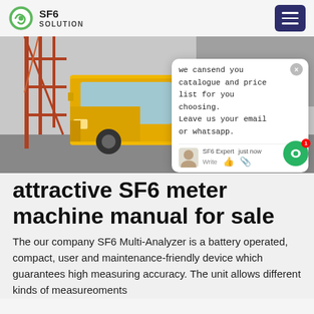[Figure (logo): SF6 Solution logo with green circular icon and text SF6 SOLUTION]
[Figure (photo): Yellow truck/service vehicle parked at an industrial site with scaffolding visible on the left]
we can send you catalogue and price list for you choosing. Leave us your email or whatsapp.
attractive SF6 meter machine manual for sale
The our company SF6 Multi-Analyzer is a battery operated, compact, user and maintenance-friendly device which guarantees high measuring accuracy. The unit allows different kinds of measurements